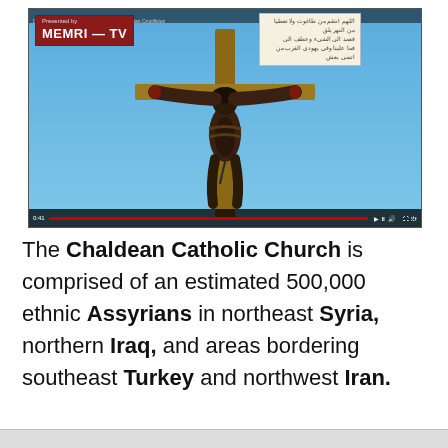[Figure (screenshot): A MEMRI-TV video screenshot showing a person crucified on a wooden cross against a blue sky, with an Arabic sign posted above. A video player interface is visible with controls at the bottom.]
The Chaldean Catholic Church is comprised of an estimated 500,000 ethnic Assyrians in northeast Syria, northern Iraq, and areas bordering southeast Turkey and northwest Iran.